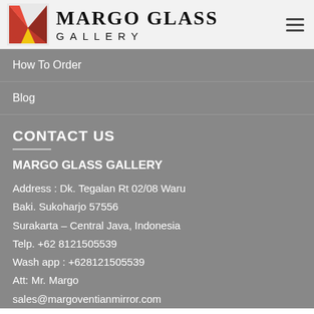[Figure (logo): Margo Glass Gallery logo with red and yellow M icon and text]
How To Order
Blog
CONTACT US
MARGO GLASS GALLERY
Address : Dk. Tegalan Rt 02/08 Waru
Baki. Sukoharjo 57556
Surakarta – Central Java, Indonesia
Telp. +62 8121505539
Wash app : +628121505539
Att: Mr. Margo
sales@margoventianmirror.com